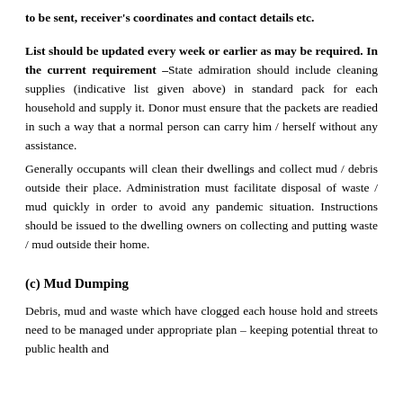to be sent, receiver's coordinates and contact details etc.
List should be updated every week or earlier as may be required. In the current requirement –State admiration should include cleaning supplies (indicative list given above) in standard pack for each household and supply it. Donor must ensure that the packets are readied in such a way that a normal person can carry him / herself without any assistance.
Generally occupants will clean their dwellings and collect mud / debris outside their place. Administration must facilitate disposal of waste / mud quickly in order to avoid any pandemic situation. Instructions should be issued to the dwelling owners on collecting and putting waste / mud outside their home.
(c) Mud Dumping
Debris, mud and waste which have clogged each house hold and streets need to be managed under appropriate plan – keeping potential threat to public health and